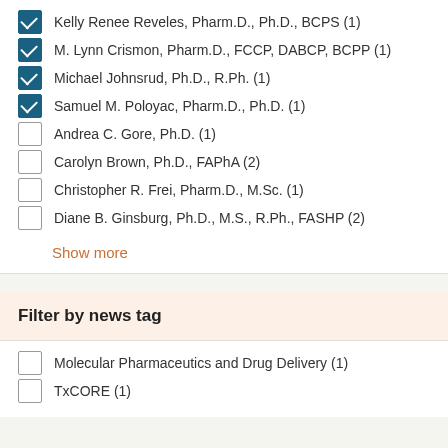Kelly Renee Reveles, Pharm.D., Ph.D., BCPS (1)
M. Lynn Crismon, Pharm.D., FCCP, DABCP, BCPP (1)
Michael Johnsrud, Ph.D., R.Ph. (1)
Samuel M. Poloyac, Pharm.D., Ph.D. (1)
Andrea C. Gore, Ph.D. (1)
Carolyn Brown, Ph.D., FAPhA (2)
Christopher R. Frei, Pharm.D., M.Sc. (1)
Diane B. Ginsburg, Ph.D., M.S., R.Ph., FASHP (2)
Show more
Filter by news tag
Molecular Pharmaceutics and Drug Delivery (1)
TxCORE (1)